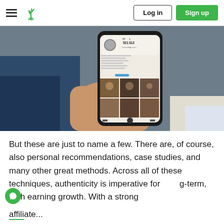Log in | Sign up
[Figure (photo): A hand holding a smartphone displaying an Instagram-like social media profile page with a grid of photos.]
But these are just to name a few. There are, of course, also personal recommendations, case studies, and many other great methods. Across all of these techniques, authenticity is imperative for long-term, high earning growth. With a strong affiliate...